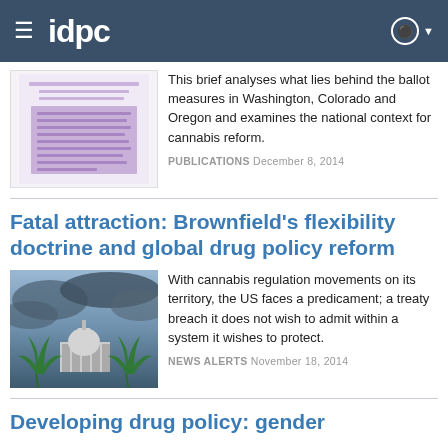idpc
This brief analyses what lies behind the ballot measures in Washington, Colorado and Oregon and examines the national context for cannabis reform.
PUBLICATIONS December 8, 2014
Fatal attraction: Brownfield's flexibility doctrine and global drug policy reform
[Figure (photo): US Capitol building with cannabis leaves overlay against dramatic cloudy sky]
With cannabis regulation movements on its territory, the US faces a predicament; a treaty breach it does not wish to admit within a system it wishes to protect.
NEWS ALERTS November 18, 2014
Developing drug policy: gender